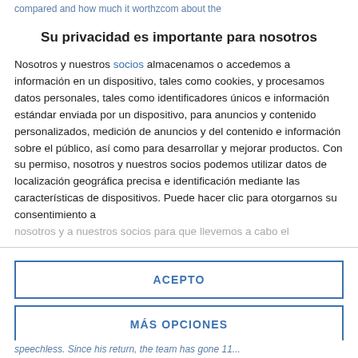compared and how much it worthzcom about the
Su privacidad es importante para nosotros
Nosotros y nuestros socios almacenamos o accedemos a información en un dispositivo, tales como cookies, y procesamos datos personales, tales como identificadores únicos e información estándar enviada por un dispositivo, para anuncios y contenido personalizados, medición de anuncios y del contenido e información sobre el público, así como para desarrollar y mejorar productos. Con su permiso, nosotros y nuestros socios podemos utilizar datos de localización geográfica precisa e identificación mediante las características de dispositivos. Puede hacer clic para otorgarnos su consentimiento a
nosotros y a nuestros socios para que llevemos a cabo el
ACEPTO
MÁS OPCIONES
speechless. Since his return, the team has gone 11...